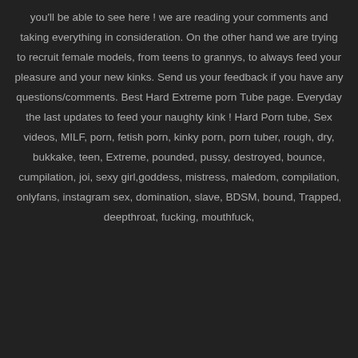you'll be able to see here ! we are reading your comments and taking everything in consideration. On the other hand we are trying to recruit female models, from teens to grannys, to always feed your pleasure and your new kinks. Send us your feedback if you have any questions/comments. Best Hard Extreme porn Tube page. Everyday the last updates to feed your naughty kink ! Hard Porn tube, Sex videos, MILF, porn, fetish porn, kinky porn, porn tuber, rough, dry, bukkake, teen, Extreme, pounded, pussy, destroyed, bounce, cumpilation, joi, sexy girl,goddess, mistress, maledom, compilation, onlyfans, instagram sex, domination, slave, BDSM, bound, Trapped, deepthroat, fucking, mouthfuck,